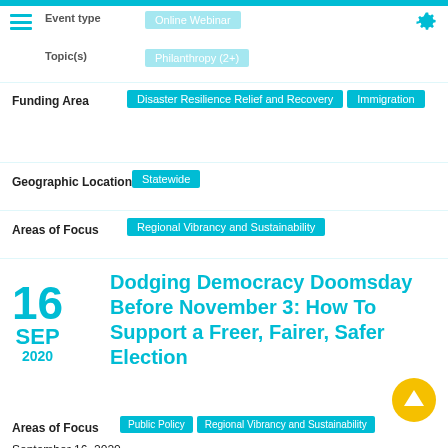Event type
Online Webinar
Topic(s)
Philanthropy (2+)
Funding Area  Disaster Resilience Relief and Recovery  Immigration
Geographic Location  Statewide
Areas of Focus  Regional Vibrancy and Sustainability
Dodging Democracy Doomsday Before November 3: How To Support a Freer, Fairer, Safer Election
16 SEP 2020
Areas of Focus  Public Policy  Regional Vibrancy and Sustainability
September 16, 2020 - 10:00am to 11:30am
Zoom Webinar
A perfect storm is swirling around November's presidential election with ominous signs of bitter partisanship and chaos